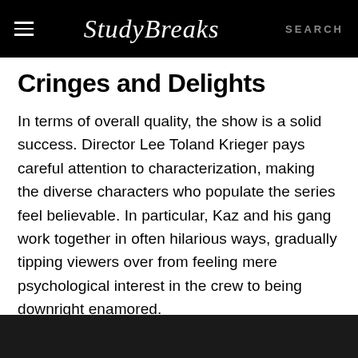Study Breaks   SEARCH
Cringes and Delights
In terms of overall quality, the show is a solid success. Director Lee Toland Krieger pays careful attention to characterization, making the diverse characters who populate the series feel believable. In particular, Kaz and his gang work together in often hilarious ways, gradually tipping viewers over from feeling mere psychological interest in the crew to being downright enamored.